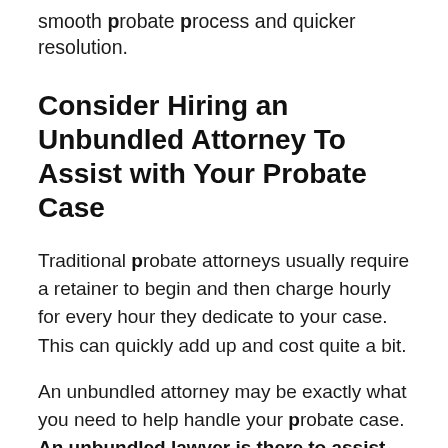smooth probate process and quicker resolution.
Consider Hiring an Unbundled Attorney To Assist with Your Probate Case
Traditional probate attorneys usually require a retainer to begin and then charge hourly for every hour they dedicate to your case. This can quickly add up and cost quite a bit.
An unbundled attorney may be exactly what you need to help handle your probate case. An unbundled lawyer is there to assist you with the most important parts of your case while you